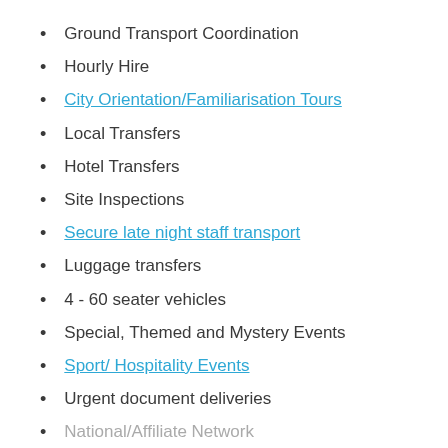Ground Transport Coordination
Hourly Hire
City Orientation/Familiarisation Tours
Local Transfers
Hotel Transfers
Site Inspections
Secure late night staff transport
Luggage transfers
4 - 60 seater vehicles
Special, Themed and Mystery Events
Sport/ Hospitality Events
Urgent document deliveries
National/Affiliate Network